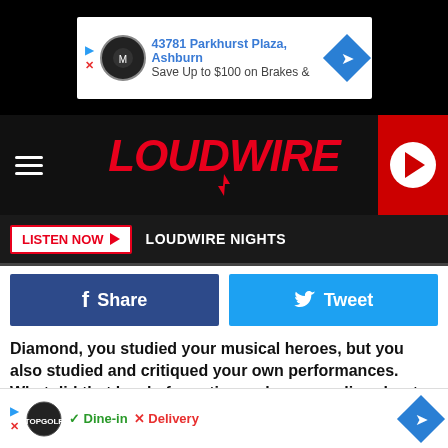[Figure (screenshot): Top advertisement banner showing Midas auto shop at 43781 Parkhurst Plaza, Ashburn — Save Up to $100 on Brakes &]
[Figure (logo): Loudwire logo in red italic bold text with lightning bolt]
LISTEN NOW  LOUDWIRE NIGHTS
f Share    Tweet
Diamond, you studied your musical heroes, but you also studied and critiqued your own performances. What did that level of scrutiny make you realize about the band's musical persona?
When we grew up we were becoming influenced by our favorite bands. Our favorite band collectively was Metallica and it's such a cliche thing to say, but watching them and watchi... e the bi...
[Figure (screenshot): Bottom advertisement banner showing TopGolf: Dine-in and Delivery options]